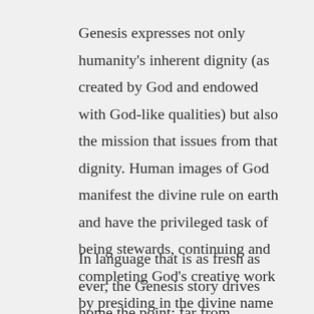Genesis expresses not only humanity's inherent dignity (as created by God and endowed with God-like qualities) but also the mission that issues from that dignity. Human images of God manifest the divine rule on earth and have the privileged task of being stewards, continuing and completing God's creative work by presiding in the divine name over the rest of creation. (O'Collins, 2008, p3)
In language that is as fresh as ever, the Genesis story drives home the point: far from